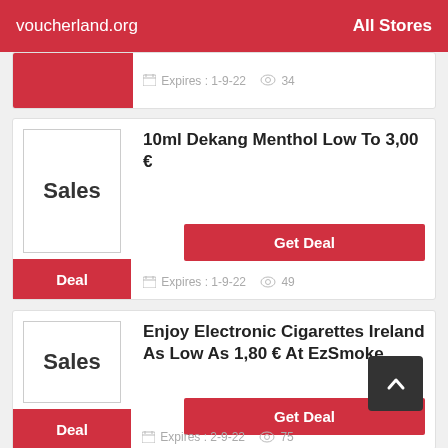voucherland.org    All Stores
Expires: 1-9-22   34
10ml Dekang Menthol Low To 3,00 €
Get Deal
Expires: 1-9-22   49
Enjoy Electronic Cigarettes Ireland As Low As 1,80 € At EzSmoke
Get Deal
Expires: 2-9-22   75